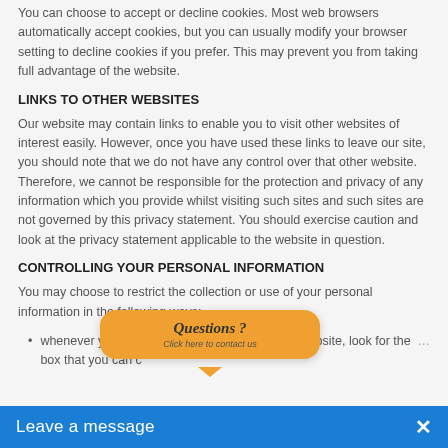You can choose to accept or decline cookies. Most web browsers automatically accept cookies, but you can usually modify your browser setting to decline cookies if you prefer. This may prevent you from taking full advantage of the website.
LINKS TO OTHER WEBSITES
Our website may contain links to enable you to visit other websites of interest easily. However, once you have used these links to leave our site, you should note that we do not have any control over that other website. Therefore, we cannot be responsible for the protection and privacy of any information which you provide whilst visiting such sites and such sites are not governed by this privacy statement. You should exercise caution and look at the privacy statement applicable to the website in question.
CONTROLLING YOUR PERSONAL INFORMATION
You may choose to restrict the collection or use of your personal information in the following ways:
whenever you are asked to fill in a form on the website, look for the box that you can click
[Figure (other): Orange speech bubble overlay with text 'Questions ?' and 'Click here to contact us']
[Figure (other): Blue 'Leave a message' bar at the bottom with an X close button]